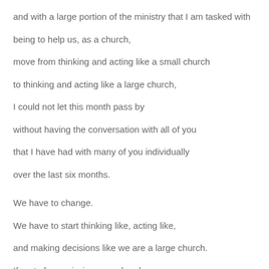and with a large portion of the ministry that I am tasked with
being to help us, as a church,
move from thinking and acting like a small church
to thinking and acting like a large church,
I could not let this month pass by
without having the conversation with all of you
that I have had with many of you individually
over the last six months.
We have to change.
We have to start thinking like, acting like,
and making decisions like we are a large church.
If part of our mission as a church